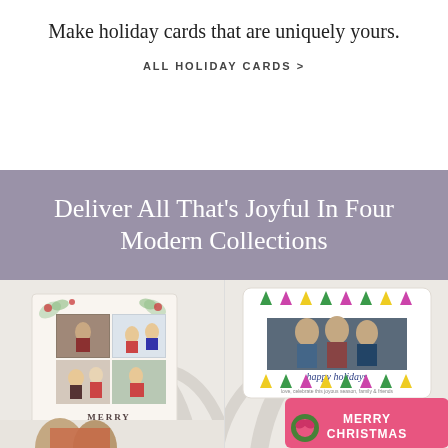Make holiday cards that are uniquely yours.
ALL HOLIDAY CARDS >
Deliver All That's Joyful In Four Modern Collections
[Figure (photo): Left panel showing holiday greeting cards on a neutral background: a floral-bordered multi-photo Merry Christmas card and below it a family photo]
[Figure (photo): Right panel showing holiday greeting cards: a colorful Christmas tree patterned 'happy holidays' card, and a pink Merry Christmas card with wreath]